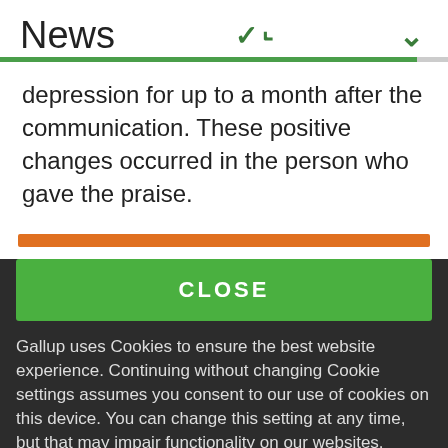News
depression for up to a month after the communication. These positive changes occurred in the person who gave the praise.
CLOSE
Gallup uses Cookies to ensure the best website experience. Continuing without changing Cookie settings assumes you consent to our use of cookies on this device. You can change this setting at any time, but that may impair functionality on our websites.
Privacy Statement   Site Terms of Use and Sale
Product Terms of Use   Adjust your cookie settings.